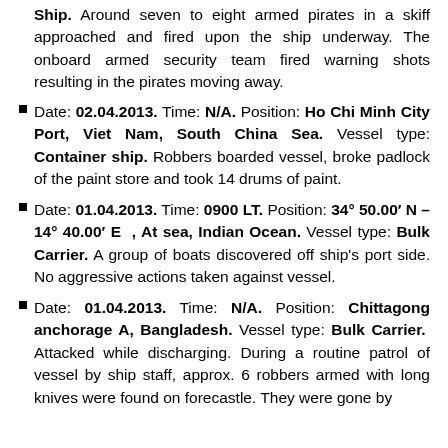Ship: Around seven to eight armed pirates in a skiff approached and fired upon the ship underway. The onboard armed security team fired warning shots resulting in the pirates moving away.
Date: 02.04.2013. Time: N/A. Position: Ho Chi Minh City Port, Viet Nam, South China Sea. Vessel type: Container ship. Robbers boarded vessel, broke padlock of the paint store and took 14 drums of paint.
Date: 01.04.2013. Time: 0900 LT. Position: 34° 50.00' N – 14° 40.00' E , At sea, Indian Ocean. Vessel type: Bulk Carrier. A group of boats discovered off ship's port side. No aggressive actions taken against vessel.
Date: 01.04.2013. Time: N/A. Position: Chittagong anchorage A, Bangladesh. Vessel type: Bulk Carrier. Attacked while discharging. During a routine patrol of vessel by ship staff, approx. 6 robbers armed with long knives were found on forecastle. They were gone by